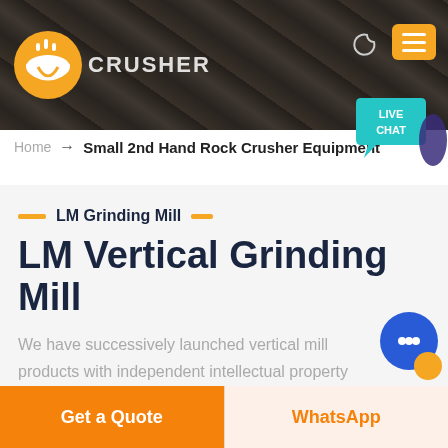[Figure (screenshot): Website header with dark rocky background, orange/yellow crusher logo, CRUSHER brand text, moon icon, and orange hamburger menu button. A teal live chat bubble appears at bottom right of header.]
Home → Small 2nd Hand Rock Crusher Equipment
LM Grinding Mill
LM Vertical Grinding Mill
We have successively launched vertical mill products with independent intellectual property rights. Product Features: Integration of multiple functions, more stable and reliable production and more excellent capacity
Get a Quote
WhatsApp